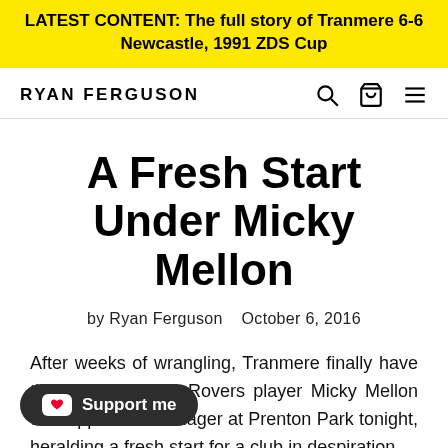LATEST CONTENT: The full story of Tranmere 6-6 Newcastle, 1991 ZDS Cup
RYAN FERGUSON
A Fresh Start Under Micky Mellon
by Ryan Ferguson   October 6, 2016
After weeks of wrangling, Tranmere finally have their man. Former Rovers player Micky Mellon was appointed manager at Prenton Park tonight, heralding a fresh start for a club in desperation.
Support me